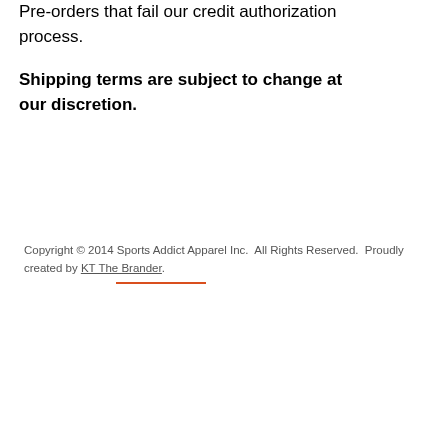Pre-orders that fail our credit authorization process.
Shipping terms are subject to change at our discretion.
Copyright © 2014 Sports Addict Apparel Inc.  All Rights Reserved.  Proudly created by KT The Brander.